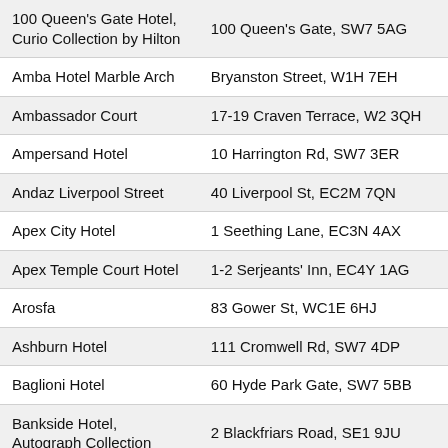| Hotel Name | Address |
| --- | --- |
| 100 Queen's Gate Hotel, Curio Collection by Hilton | 100 Queen's Gate, SW7 5AG |
| Amba Hotel Marble Arch | Bryanston Street, W1H 7EH |
| Ambassador Court | 17-19 Craven Terrace, W2 3QH |
| Ampersand Hotel | 10 Harrington Rd, SW7 3ER |
| Andaz Liverpool Street | 40 Liverpool St, EC2M 7QN |
| Apex City Hotel | 1 Seething Lane, EC3N 4AX |
| Apex Temple Court Hotel | 1-2 Serjeants' Inn, EC4Y 1AG |
| Arosfa | 83 Gower St, WC1E 6HJ |
| Ashburn Hotel | 111 Cromwell Rd, SW7 4DP |
| Baglioni Hotel | 60 Hyde Park Gate, SW7 5BB |
| Bankside Hotel, Autograph Collection | 2 Blackfriars Road, SE1 9JU |
| Bayswater Inn Hotel | 16 Princes Square, W2 4NT |
| Bedford Hotel | 83, 95 Southampton Row, London |